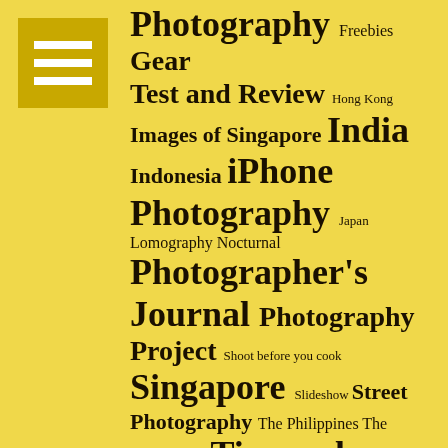[Figure (other): Hamburger menu icon — three white horizontal bars on a dark yellow/gold square background]
Photography Freebies Gear Test and Review Hong Kong Images of Singapore India Indonesia iPhone Photography Japan Lomography Nocturnal Photographer's Journal Photography Project Shoot before you cook Singapore Slideshow Street Photography The Philippines The Unexpected Tips and Tricks Travel Blog Tweetnews Vanishing Trades of Singapore Vietnam